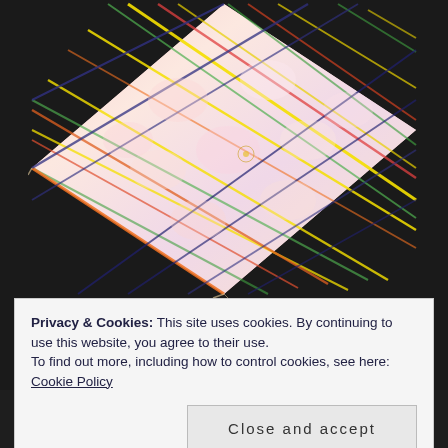[Figure (photo): A colorful tie-dye fabric laid flat on a dark/black plastic surface. The fabric has a diamond/grid quilted pattern with vibrant colors including pink, red, orange, yellow, green, blue, and white. The fabric appears to be a square piece with frayed edges.]
Privacy & Cookies: This site uses cookies. By continuing to use this website, you agree to their use.
To find out more, including how to control cookies, see here: Cookie Policy
Close and accept
[Figure (photo): Bottom strip of another photo showing yellow circular/oval shapes on a dark background.]